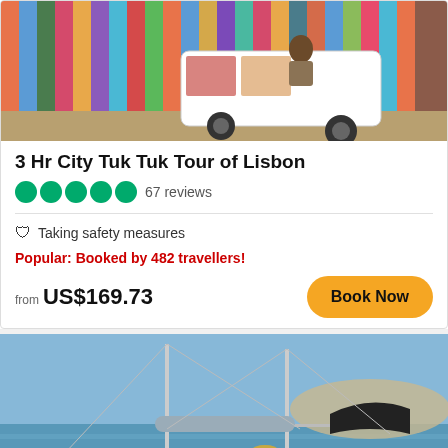[Figure (photo): Tuk tuk vehicle decorated with colorful tile pattern in front of a painted mural wall in Lisbon]
3 Hr City Tuk Tuk Tour of Lisbon
67 reviews (5 green circles rating)
Taking safety measures
Popular: Booked by 482 travellers!
from US$169.73
[Figure (photo): Group of people relaxing on a sailboat catamaran on the water, with a rocky coastline in the background]